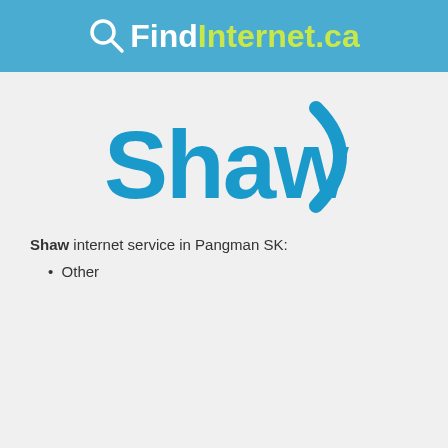QFindInternet.ca
[Figure (logo): Shaw logo — the word 'Shaw' in bold blue letters followed by a blue closing parenthesis arc, styled as the Shaw Communications brand logo]
Shaw internet service in Pangman SK:
Other